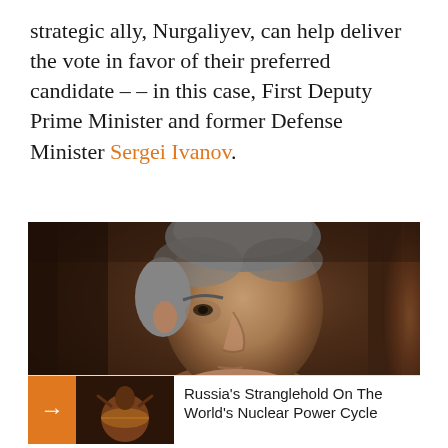strategic ally, Nurgaliyev, can help deliver the vote in favor of their preferred candidate -- in this case, First Deputy Prime Minister and former Defense Minister Sergei Ivanov.
[Figure (photo): A man in military uniform viewed from the side/profile, short grey hair, in front of a dark wooden paneled background. Partial view of military insignia visible on shoulder.]
Russia's Stranglehold On The World's Nuclear Power Cycle